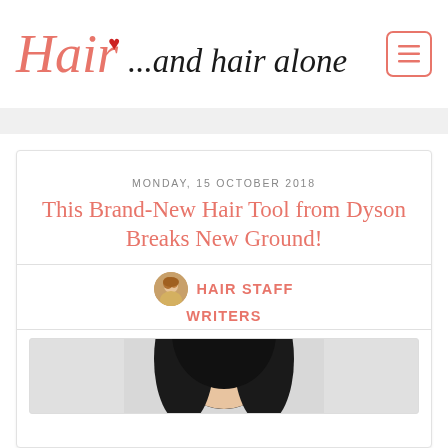Hair ...and hair alone
MONDAY, 15 OCTOBER 2018
This Brand-New Hair Tool from Dyson Breaks New Ground!
HAIR STAFF WRITERS
[Figure (photo): Photo of a woman with long dark hair, viewed from behind/above, showing top and back of head]